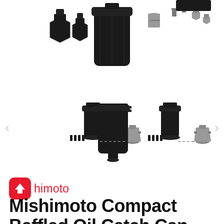[Figure (photo): Product photo showing Mishimoto oil catch can components: fittings, the main cylindrical can body, screws and bolts spread out on white background - top view]
[Figure (photo): Product photo showing two smaller variant oil catch cans with fittings and components, plus a center version with barbed inlet/outlet ports, all on white background with navigation arrows on sides]
Mishimoto
Mishimoto Compact Baffled Oil Catch Can